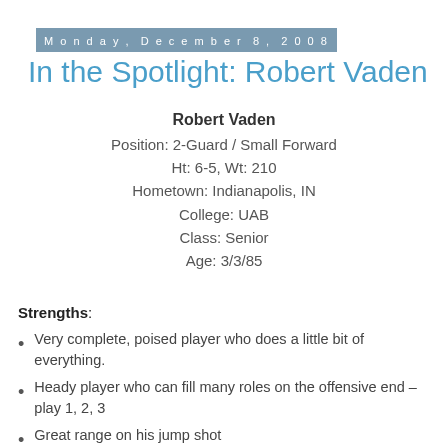Monday, December 8, 2008
In the Spotlight: Robert Vaden
Robert Vaden
Position: 2-Guard / Small Forward
Ht: 6-5, Wt: 210
Hometown: Indianapolis, IN
College: UAB
Class: Senior
Age: 3/3/85
Strengths:
Very complete, poised player who does a little bit of everything.
Heady player who can fill many roles on the offensive end – play 1, 2, 3
Great range on his jump shot